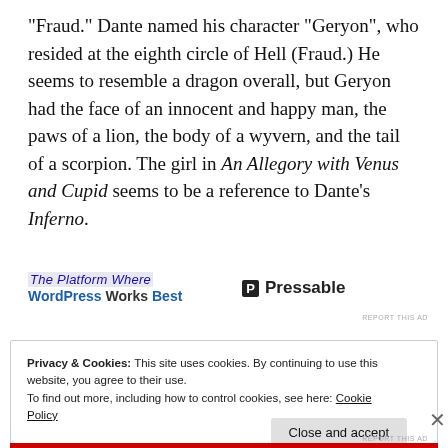“Fraud.” Dante named his character “Geryon”, who resided at the eighth circle of Hell (Fraud.) He seems to resemble a dragon overall, but Geryon had the face of an innocent and happy man, the paws of a lion, the body of a wyvern, and the tail of a scorpion.  The girl in An Allegory with Venus and Cupid seems to be a reference to Dante’s Inferno.
[Figure (other): Advertisement banner: The Platform Where WordPress Works Best | Pressable]
Privacy & Cookies: This site uses cookies. By continuing to use this website, you agree to their use.
To find out more, including how to control cookies, see here: Cookie Policy
Close and accept